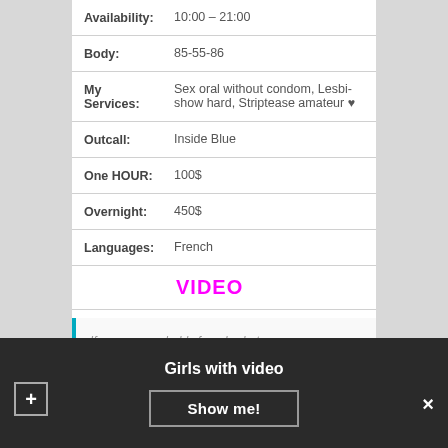Availability: 10:00 – 21:00
Body: 85-55-86
My Services: Sex oral without condom, Lesbi-show hard, Striptease amateur ♥
Outcall: Inside Blue
One HOUR: 100$
Overnight: 450$
Languages: French
VIDEO
If yes, you probably found, what u were looking for. I love deep anal sex in any
Girls with video
Show me!